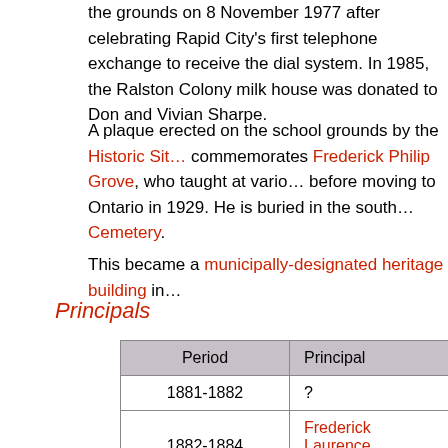the grounds on 8 November 1977 after celebrating Rapid City's first telephone exchange to receive the dial system. In 1985, the Ralston Colony milk house was donated to Don and Vivian Sharpe.
A plaque erected on the school grounds by the Historic Sites Board commemorates Frederick Philip Grove, who taught at various schools in Manitoba before moving to Ontario in 1929. He is buried in the south part of Rapid City Cemetery.
This became a municipally-designated heritage building in
Principals
| Period | Principal |
| --- | --- |
| 1881-1882 | ? |
| 1882-1884 | Frederick Laurence Schaffner (18… |
| 1884-1897 | ? |
| 1897-1899 | John Whyte (1850-1927) |
| 1899-1901 | John Wesley Peters (1863-1962) |
| 1901 | Mr. Laidlaw |